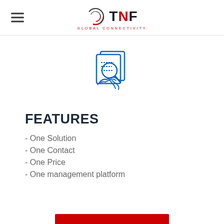TNF GLOBAL CONNECTIVITY
[Figure (illustration): Blue line-art icon showing documents/files with a magnifying glass and handshake, representing a business deal or contract review]
FEATURES
- One Solution
- One Contact
- One Price
- One management platform